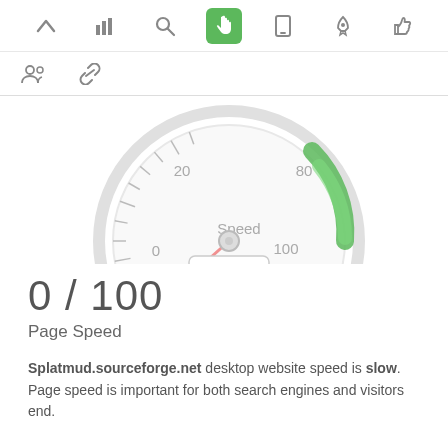[Figure (screenshot): Top navigation bar with icons: up arrow, bar chart, search, hand pointer (active/green), mobile phone, rocket, thumbs up]
[Figure (screenshot): Second navigation row with people/group icon and chain/link icon]
[Figure (other): Speed gauge/speedometer showing 0/100, with needle pointing near 0, green arc from ~70-100 range, red needle, label 'Speed' in center, digital display showing '00%']
0 / 100
Page Speed
Splatmud.sourceforge.net desktop website speed is slow. Page speed is important for both search engines and visitors end.